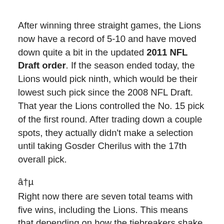After winning three straight games, the Lions now have a record of 5-10 and have moved down quite a bit in the updated 2011 NFL Draft order. If the season ended today, the Lions would pick ninth, which would be their lowest such pick since the 2008 NFL Draft. That year the Lions controlled the No. 15 pick of the first round. After trading down a couple spots, they actually didn't make a selection until taking Gosder Cherilus with the 17th overall pick.
â†µ
Right now there are seven total teams with five wins, including the Lions. This means that depending on how the tiebreakers shake out and how teams do in the final week of the season, there is a pretty big range as